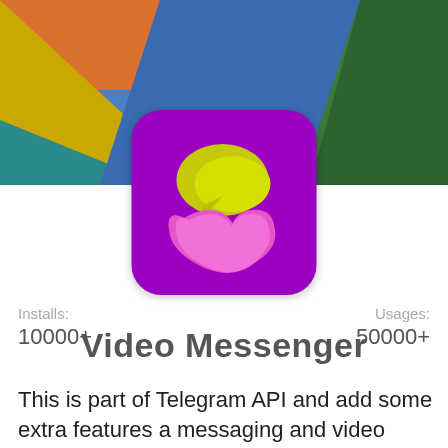[Figure (illustration): Colorful geometric banner background with overlapping triangles/rectangles in yellow, orange, green, teal, and blue colors]
[Figure (logo): App icon with purple rounded-square background, featuring a yellow speech bubble and pink heart/chat bubble icon — Video Messenger app logo]
Installs:
10000+
Usages:
50000+
Video Messenger
This is part of Telegram API and add some extra features a messaging and video calling that helps you connect with